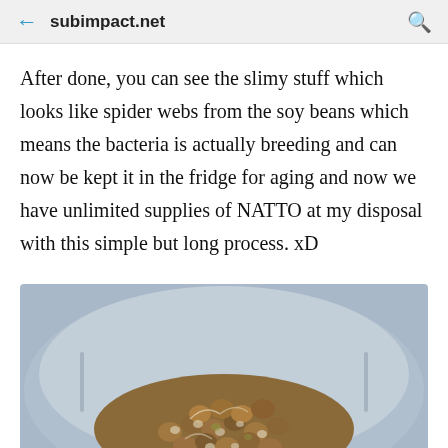subimpact.net
After done, you can see the slimy stuff which looks like spider webs from the soy beans which means the bacteria is actually breeding and can now be kept it in the fridge for aging and now we have unlimited supplies of NATTO at my disposal with this simple but long process. xD
[Figure (photo): A plate of natto (fermented soy beans) showing slimy, sticky fermented beans with white coating on a blue/grey plate]